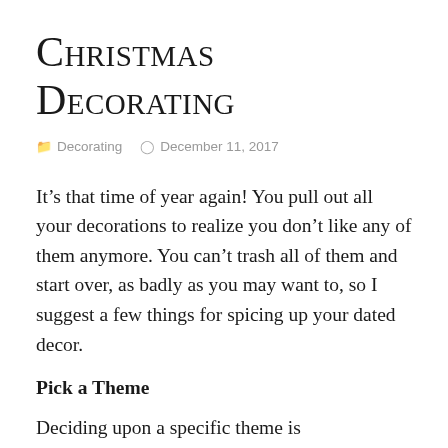Christmas Decorating
Decorating   December 11, 2017
It’s that time of year again! You pull out all your decorations to realize you don’t like any of them anymore. You can’t trash all of them and start over, as badly as you may want to, so I suggest a few things for spicing up your dated decor.
Pick a Theme
Deciding upon a specific theme is